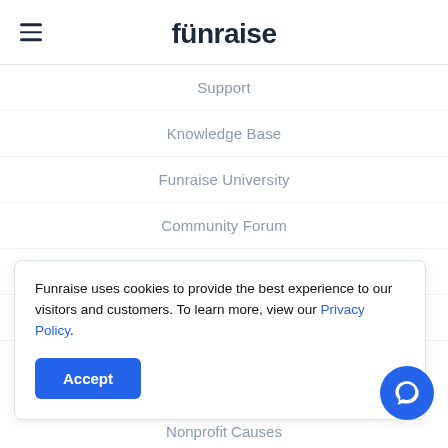funraise
Support
Knowledge Base
Funraise University
Community Forum
For Developers
For Salesforce
Funraise uses cookies to provide the best experience to our visitors and customers. To learn more, view our Privacy Policy.
Nonprofit Causes